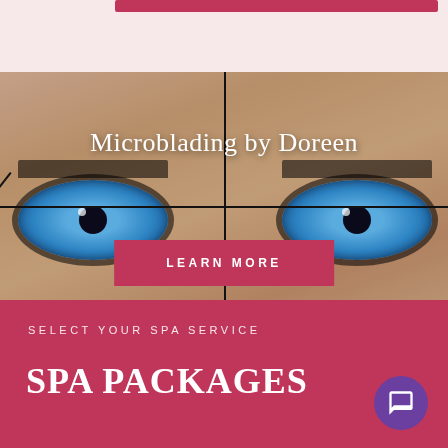[Figure (photo): Top navigation bar area with pink/rose background and a dark red/crimson horizontal bar element]
[Figure (photo): Close-up photo of a woman's blue eyes with heavy mascara and eyeliner, overlaid with crosshair/measurement lines, text 'Microblading by Doreen' and a 'LEARN MORE' button]
SELECT YOUR SPA SERVICE
SPA PACKAGES